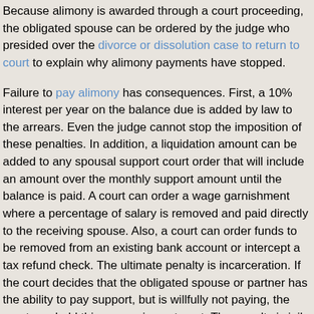Because alimony is awarded through a court proceeding, the obligated spouse can be ordered by the judge who presided over the divorce or dissolution case to return to court to explain why alimony payments have stopped.
Failure to pay alimony has consequences. First, a 10% interest per year on the balance due is added by law to the arrears. Even the judge cannot stop the imposition of these penalties. In addition, a liquidation amount can be added to any spousal support court order that will include an amount over the monthly support amount until the balance is paid. A court can order a wage garnishment where a percentage of salary is removed and paid directly to the receiving spouse. Also, a court can order funds to be removed from an existing bank account or intercept a tax refund check. The ultimate penalty is incarceration. If the court decides that the obligated spouse or partner has the ability to pay support, but is willfully not paying, the court can hold this person in contempt. The penalty is jail. Although this enforcement tool is not used often, it is used as a penalty of last resort.
What happens if the obligated spouse cannot afford to pay the court-ordered